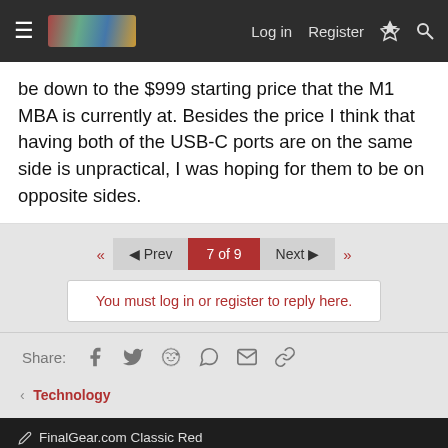≡ [logo] Log in  Register  ⚡ 🔍
be down to the $999 starting price that the M1 MBA is currently at. Besides the price I think that having both of the USB-C ports are on the same side is unpractical, I was hoping for them to be on opposite sides.
◄◄  ◄ Prev  7 of 9  Next ►  ►►
You must log in or register to reply here.
Share:
< Technology
FinalGear.com Classic Red
Contact us  Terms and rules  Privacy policy  Help  [RSS]
Community platform by XenForo® © 2010-2022 XenForo Ltd.